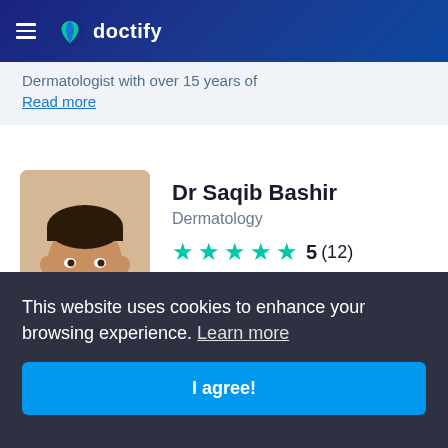doctify
Dermatologist with over 15 years of
Read more
Dr Saqib Bashir
Dermatology
5 (12)
20 Devonshire Place, London, United
This website uses cookies to enhance your browsing experience. Learn more
I agree!